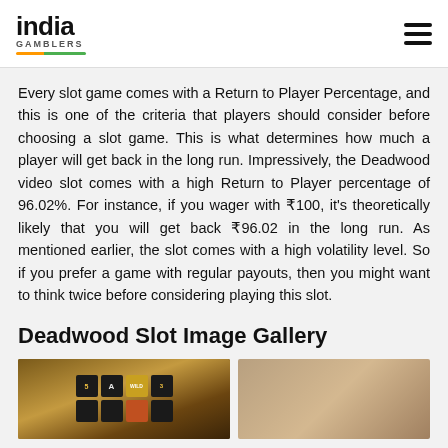india GAMBLERS
Every slot game comes with a Return to Player Percentage, and this is one of the criteria that players should consider before choosing a slot game. This is what determines how much a player will get back in the long run. Impressively, the Deadwood video slot comes with a high Return to Player percentage of 96.02%. For instance, if you wager with ₹100, it's theoretically likely that you will get back ₹96.02 in the long run. As mentioned earlier, the slot comes with a high volatility level. So if you prefer a game with regular payouts, then you might want to think twice before considering playing this slot.
Deadwood Slot Image Gallery
[Figure (photo): Slot machine game screen showing reels with symbols including A, WILD, and numbers on a dark background with brown/gold frame]
[Figure (photo): Partial view of a light brown/tan background, possibly part of a slot game image]